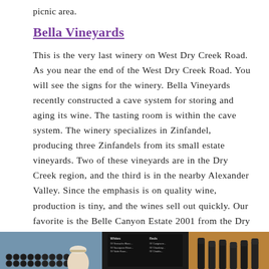picnic area.
Bella Vineyards
This is the very last winery on West Dry Creek Road. As you near the end of the West Dry Creek Road. You will see the signs for the winery. Bella Vineyards recently constructed a cave system for storing and aging its wine. The tasting room is within the cave system. The winery specializes in Zinfandel, producing three Zinfandels from its small estate vineyards. Two of these vineyards are in the Dry Creek region, and the third is in the nearby Alexander Valley. Since the emphasis is on quality wine, production is tiny, and the wines sell out quickly. Our favorite is the Belle Canyon Estate 2001 from the Dry Creek Valley. A few other varieties are also produced, but the Zinfandels are their flagship wines.
[Figure (photo): Three-panel photo strip showing wine racks on the left, a chalkboard wine menu in the center, and wine bottles on the right in a rustic cellar setting.]